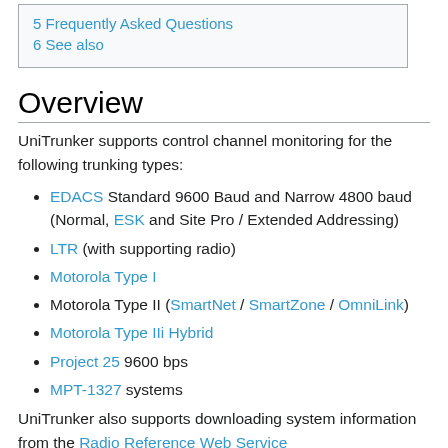5 Frequently Asked Questions
6 See also
Overview
UniTrunker supports control channel monitoring for the following trunking types:
EDACS Standard 9600 Baud and Narrow 4800 baud (Normal, ESK and Site Pro / Extended Addressing)
LTR (with supporting radio)
Motorola Type I
Motorola Type II (SmartNet / SmartZone / OmniLink)
Motorola Type IIi Hybrid
Project 25 9600 bps
MPT-1327 systems
UniTrunker also supports downloading system information from the Radio Reference Web Service...